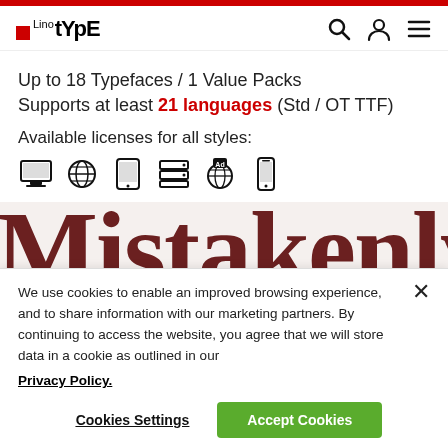LinoType — header with logo and icons
Up to 18 Typefaces / 1 Value Packs
Supports at least 21 languages (Std / OT TTF)
Available licenses for all styles:
[Figure (illustration): Six license type icons: desktop, web, tablet, server/web, ad, mobile]
[Figure (photo): Large serif font preview showing the word 'Mistakenly' in dark red/maroon on a light background]
We use cookies to enable an improved browsing experience, and to share information with our marketing partners. By continuing to access the website, you agree that we will store data in a cookie as outlined in our Privacy Policy.
Cookies Settings
Accept Cookies